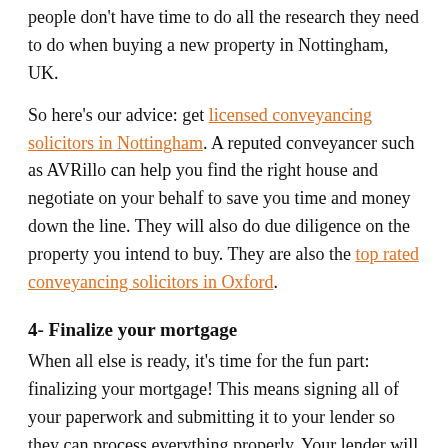people don't have time to do all the research they need to do when buying a new property in Nottingham, UK.
So here's our advice: get licensed conveyancing solicitors in Nottingham. A reputed conveyancer such as AVRillo can help you find the right house and negotiate on your behalf to save you time and money down the line. They will also do due diligence on the property you intend to buy. They are also the top rated conveyancing solicitors in Oxford.
4- Finalize your mortgage
When all else is ready, it's time for the fun part: finalizing your mortgage! This means signing all of your paperwork and submitting it to your lender so they can process everything properly. Your lender will do a property valuation to determine whether it's worth the mortgage.